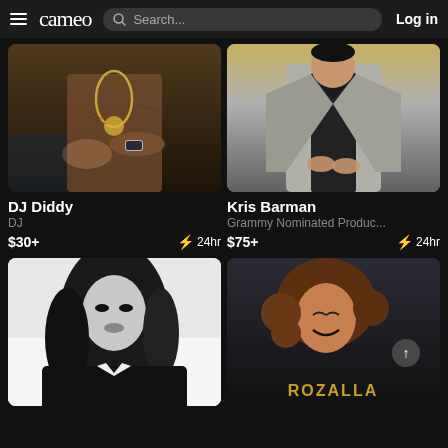cameo  Search...  Log in
[Figure (photo): DJ Diddy - shirtless person with tattoos, jewelry and watch, posing near a car]
DJ Diddy
DJ
$30+  ⚡ 24hr
[Figure (photo): Kris Barman - person in grey blazer and black shirt]
Kris Barman
Grammy Nominated Produc...
$75+  ⚡ 24hr
[Figure (photo): Black and white photo of a woman with long dark hair in a dark jacket]
[Figure (photo): Rozalla - smiling woman with curly hair, text 'ROZALLA' at bottom]